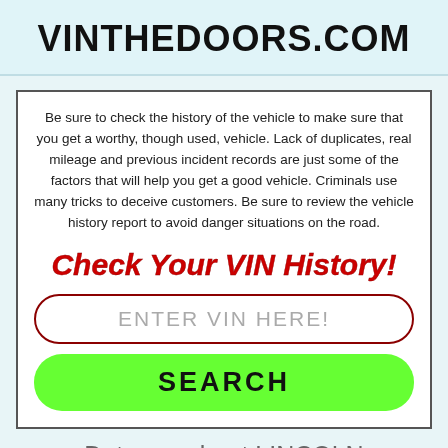VINTHEDOORS.COM
Be sure to check the history of the vehicle to make sure that you get a worthy, though used, vehicle. Lack of duplicates, real mileage and previous incident records are just some of the factors that will help you get a good vehicle. Criminals use many tricks to deceive customers. Be sure to review the vehicle history report to avoid danger situations on the road.
Check Your VIN History!
ENTER VIN HERE!
SEARCH
Data car about LINCOLN